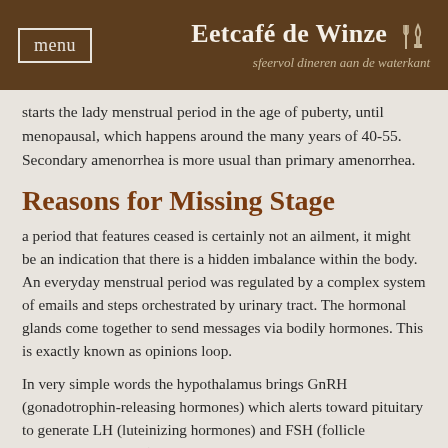menu | Eetcafé de Winze — sfeervol dineren aan de waterkant
starts the lady menstrual period in the age of puberty, until menopausal, which happens around the many years of 40-55. Secondary amenorrhea is more usual than primary amenorrhea.
Reasons for Missing Stage
a period that features ceased is certainly not an ailment, it might be an indication that there is a hidden imbalance within the body. An everyday menstrual period was regulated by a complex system of emails and steps orchestrated by urinary tract. The hormonal glands come together to send messages via bodily hormones. This is exactly known as opinions loop.
In very simple words the hypothalamus brings GnRH (gonadotrophin-releasing hormones) which alerts toward pituitary to generate LH (luteinizing hormones) and FSH (follicle stimulating hormone) to indicate toward ovaries that it's their own consider launch the hormone estrogen and progesterone, which will be